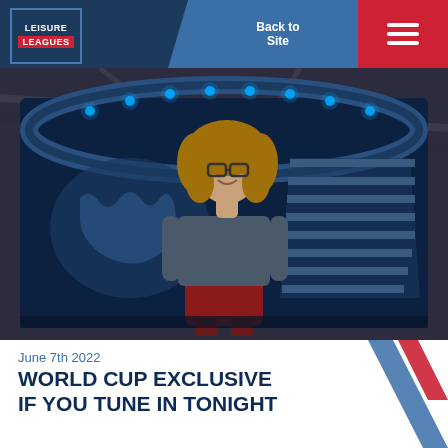[Figure (logo): Leisure Leagues logo — blue box with red banner]
Back to Site
[Figure (photo): A woman with curly hair and glasses wearing a red dress and denim jacket stands in a TV studio set with blue lighting and world map graphics in the background]
June 7th 2022
WORLD CUP EXCLUSIVE IF YOU TUNE IN TONIGHT